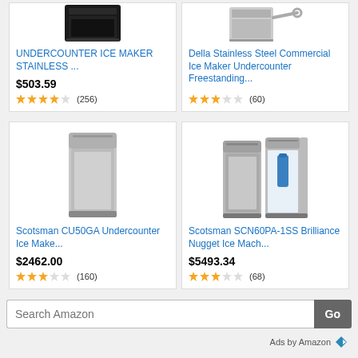[Figure (screenshot): Amazon product listing screenshot showing 4 ice maker products in a 2x2 grid, with a search bar and 'Ads by Amazon' footer]
UNDERCOUNTER ICE MAKER STAINLESS ...
$503.59
★★★★☆ (256)
Della Stainless Steel Commercial Ice Maker Undercounter Freestanding...
(60)
Scotsman CU50GA Undercounter Ice Make...
$2462.00
★★★★☆ (160)
Scotsman SCN60PA-1SS Brilliance Nugget Ice Mach...
$5493.34
★★★☆☆ (68)
Search Amazon
Go
Ads by Amazon